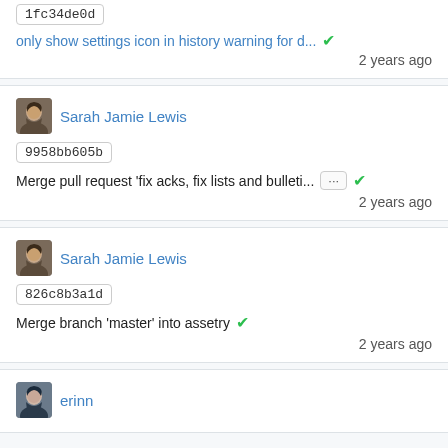1fc34de0d
only show settings icon in history warning for d... ✓
2 years ago
Sarah Jamie Lewis
9958bb605b
Merge pull request 'fix acks, fix lists and bulleti... ... ✓
2 years ago
Sarah Jamie Lewis
826c8b3a1d
Merge branch 'master' into assetry ✓
2 years ago
erinn